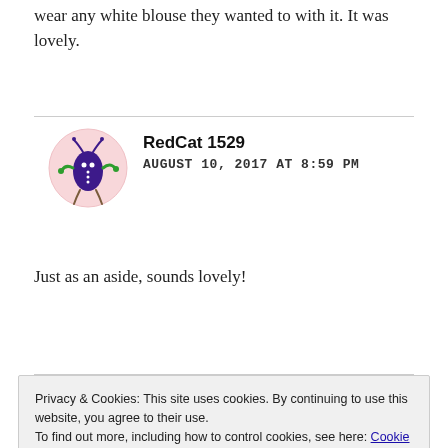wear any white blouse they wanted to with it. It was lovely.
[Figure (illustration): Avatar of user RedCat1529: a cartoon monster with purple oval body, green arms and legs, small white buttons, on a light pink circular background]
RedCat 1529
AUGUST 10, 2017 AT 8:59 PM
Just as an aside, sounds lovely!
Privacy & Cookies: This site uses cookies. By continuing to use this website, you agree to their use.
To find out more, including how to control cookies, see here: Cookie Policy